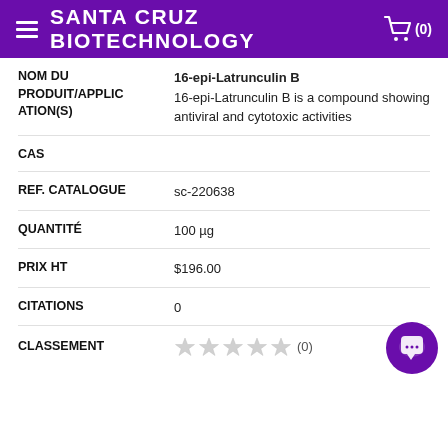SANTA CRUZ BIOTECHNOLOGY
| NOM DU PRODUIT/APPLICATION(S) | 16-epi-Latrunculin B
16-epi-Latrunculin B is a compound showing antiviral and cytotoxic activities |
| CAS |  |
| REF. CATALOGUE | sc-220638 |
| QUANTITÉ | 100 µg |
| PRIX HT | $196.00 |
| CITATIONS | 0 |
| CLASSEMENT | ★★★★★ (0) |